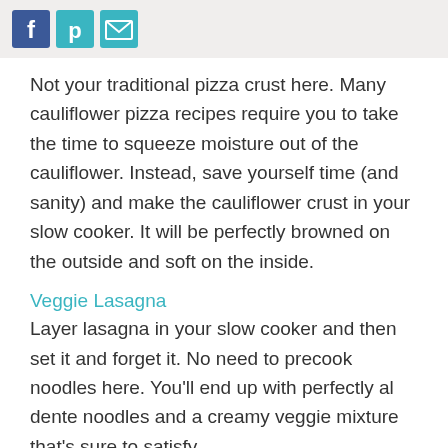[Social share icons: Facebook, Pinterest, Email]
Not your traditional pizza crust here. Many cauliflower pizza recipes require you to take the time to squeeze moisture out of the cauliflower. Instead, save yourself time (and sanity) and make the cauliflower crust in your slow cooker. It will be perfectly browned on the outside and soft on the inside.
Veggie Lasagna
Layer lasagna in your slow cooker and then set it and forget it. No need to precook noodles here. You'll end up with perfectly al dente noodles and a creamy veggie mixture that's sure to satisfy.
Chicken